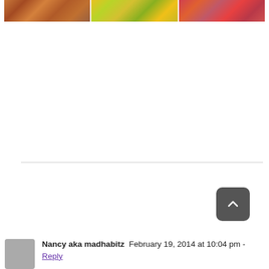[Figure (photo): Three cropped photos in a row at the top: left shows a person in colorful clothing, center shows a yellow/green abstract or nature scene, right shows a red/colorful abstract or artwork.]
Nancy aka madhabitz  February 19, 2014 at 10:04 pm -
Reply
[Figure (other): Dark gray rounded square button with an upward-pointing chevron arrow (scroll-to-top button).]